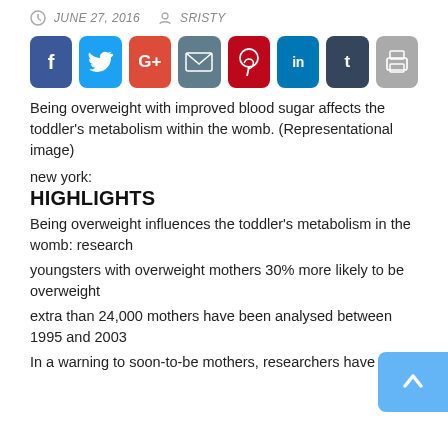JUNE 27, 2016   SRISTY
[Figure (infographic): Social media share buttons: Facebook, Twitter, Google+, Email, Pinterest, LinkedIn, Tumblr, Print]
Being overweight with improved blood sugar affects the toddler's metabolism within the womb. (Representational image)
new york:
HIGHLIGHTS
Being overweight influences the toddler's metabolism in the womb: research
youngsters with overweight mothers 30% more likely to be overweight
extra than 24,000 mothers have been analysed between 1995 and 2003
In a warning to soon-to-be mothers, researchers have